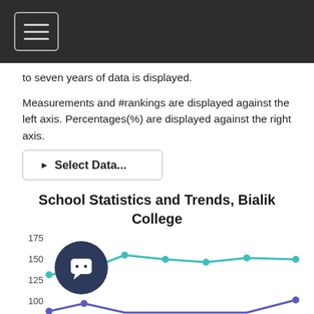to seven years of data is displayed.
Measurements and #rankings are displayed against the left axis. Percentages(%) are displayed against the right axis.
▶ Select Data...
School Statistics and Trends, Bialik College
[Figure (line-chart): Line chart showing two data series over multiple years. Teal line trends around 135-160 range, blue/purple line trends around 80-105 range. Y-axis shows values 100, 125, 150, 175.]